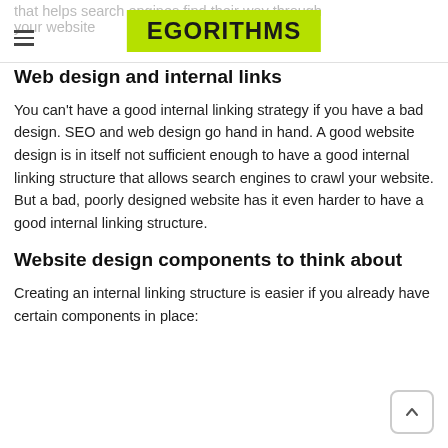EGORITHMS
that helps search engines find their way through your website
Web design and internal links
You can't have a good internal linking strategy if you have a bad design. SEO and web design go hand in hand. A good website design is in itself not sufficient enough to have a good internal linking structure that allows search engines to crawl your website. But a bad, poorly designed website has it even harder to have a good internal linking structure.
Website design components to think about
Creating an internal linking structure is easier if you already have certain components in place: